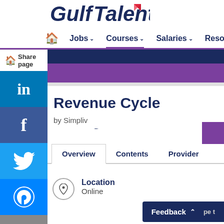GulfTalent
Jobs   Courses   Salaries   Resources
Share page
Revenue Cycle Management
by Simpliv
Overview   Contents   Provider
Location
Online
Feedback